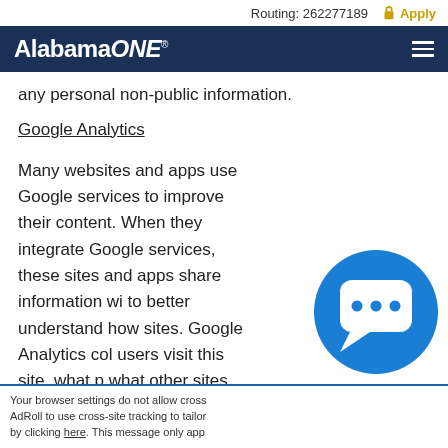Routing: 262277189  Apply
[Figure (logo): Alabama ONE credit union logo in white text on dark navy navigation bar with hamburger menu icon]
any personal non-public information.
Google Analytics
Many websites and apps use Google services to improve their content. When they integrate Google services, these sites and apps share information wi to better understand how sites. Google Analytics col users visit this site, what p what other sites they used Analytics collects the IP a
[Figure (illustration): Blue circular chat bubble icon with three dots indicating a messaging/chat widget]
Your browser settings do not allow cross AdRoll to use cross-site tracking to tailor by clicking here. This message only app